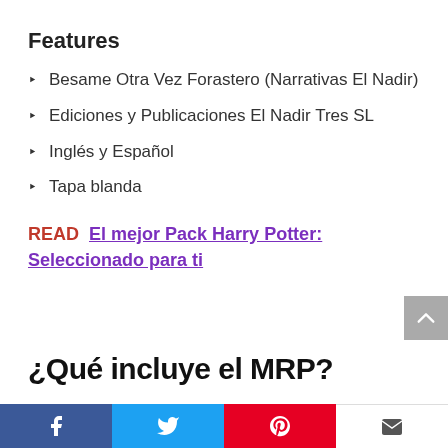Features
Besame Otra Vez Forastero (Narrativas El Nadir)
Ediciones y Publicaciones El Nadir Tres SL
Inglés y Español
Tapa blanda
READ  El mejor Pack Harry Potter: Seleccionado para ti
¿Qué incluye el MRP?